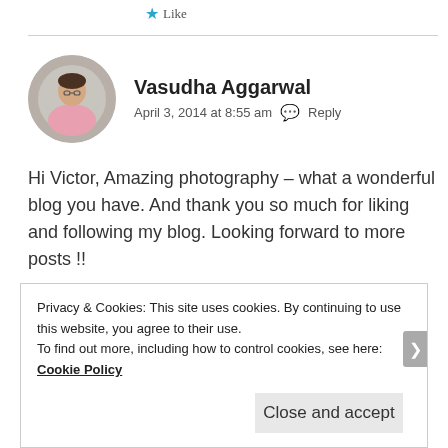Like
Vasudha Aggarwal
April 3, 2014 at 8:55 am   Reply
Hi Victor, Amazing photography – what a wonderful blog you have. And thank you so much for liking and following my blog. Looking forward to more posts !!
Like
Privacy & Cookies: This site uses cookies. By continuing to use this website, you agree to their use.
To find out more, including how to control cookies, see here: Cookie Policy

Close and accept